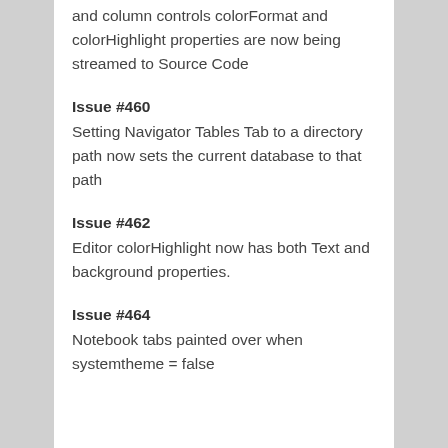and column controls colorFormat and colorHighlight properties are now being streamed to Source Code
Issue #460
Setting Navigator Tables Tab to a directory path now sets the current database to that path
Issue #462
Editor colorHighlight now has both Text and background properties.
Issue #464
Notebook tabs painted over when systemtheme = false